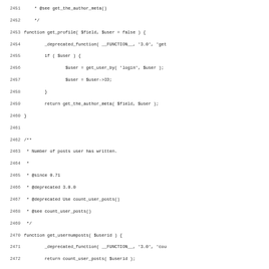Source code listing, lines 2451-2483, showing PHP functions get_profile and get_usernumposts with deprecation comments, and start of a callback function.